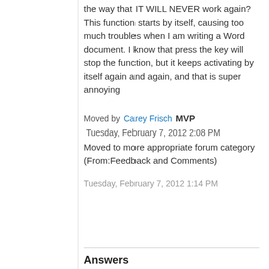the way that IT WILL NEVER work again?
This function starts by itself, causing too much troubles when I am writing a Word document. I know that press the key will stop the function, but it keeps activating by itself again and again, and that is super annoying
Moved by Carey Frisch MVP
Tuesday, February 7, 2012 2:08 PM
Moved to more appropriate forum category (From:Feedback and Comments)
Tuesday, February 7, 2012 1:14 PM
Answers